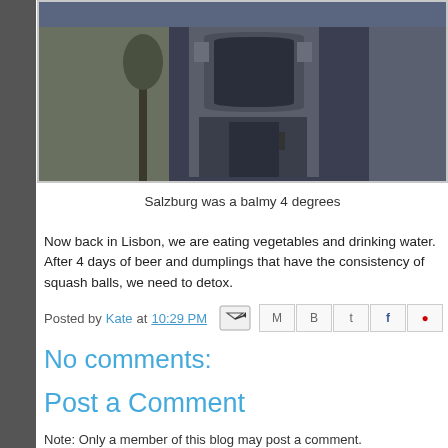[Figure (photo): Photo of a building in Salzburg, showing an ornate facade with a large arched doorway, taken in dim/cold weather]
Salzburg was a balmy 4 degrees
Now back in Lisbon, we are eating vegetables and drinking water. After 4 days of beer and dumplings that have the consistency of squash balls, we need to detox.
Posted by Kate at 10:29 PM
No comments:
Post a Comment
Note: Only a member of this blog may post a comment.
To leave a comment, click the button below to sign in with
SIGN IN WITH GOOGLE